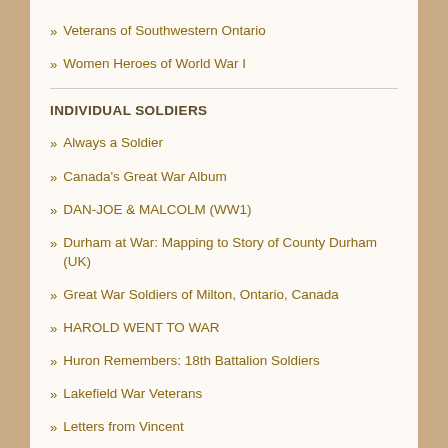Veterans of Southwestern Ontario
Women Heroes of World War I
INDIVIDUAL SOLDIERS
Always a Soldier
Canada's Great War Album
DAN-JOE & MALCOLM (WW1)
Durham at War: Mapping to Story of County Durham (UK)
Great War Soldiers of Milton, Ontario, Canada
HAROLD WENT TO WAR
Huron Remembers: 18th Battalion Soldiers
Lakefield War Veterans
Letters from Vincent
My Grandfather's War & the 21st. Battn. CEF